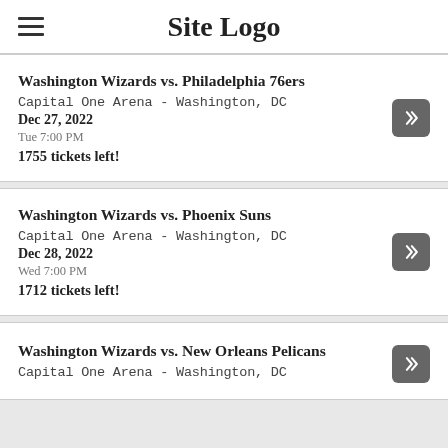Site Logo
Washington Wizards vs. Philadelphia 76ers
Capital One Arena - Washington, DC
Dec 27, 2022
Tue 7:00 PM
1755 tickets left!
Washington Wizards vs. Phoenix Suns
Capital One Arena - Washington, DC
Dec 28, 2022
Wed 7:00 PM
1712 tickets left!
Washington Wizards vs. New Orleans Pelicans
Capital One Arena - Washington, DC